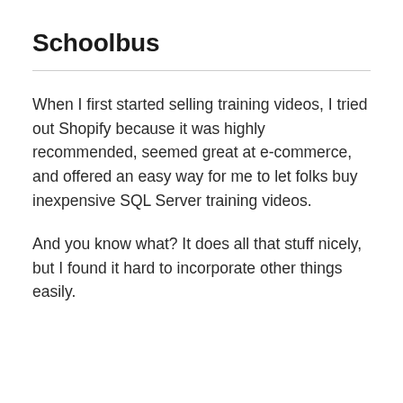Schoolbus
When I first started selling training videos, I tried out Shopify because it was highly recommended, seemed great at e-commerce, and offered an easy way for me to let folks buy inexpensive SQL Server training videos.
And you know what? It does all that stuff nicely, but I found it hard to incorporate other things easily.